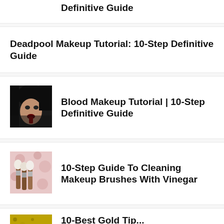Definitive Guide
Deadpool Makeup Tutorial: 10-Step Definitive Guide
[Figure (photo): Person with blood makeup on face, dark hair]
Blood Makeup Tutorial | 10-Step Definitive Guide
[Figure (photo): Makeup brushes with wooden handles on pink floral background]
10-Step Guide To Cleaning Makeup Brushes With Vinegar
[Figure (photo): Partial image at bottom of page, appears to show a yellow/green textured background]
10-Best Gold Tip...